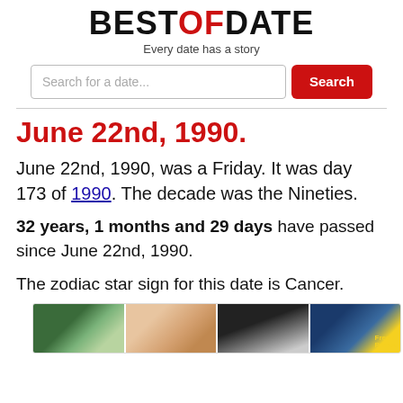BESTOFDATE — Every date has a story
Search for a date...
June 22nd, 1990.
June 22nd, 1990, was a Friday. It was day 173 of 1990. The decade was the Nineties.
32 years, 1 months and 29 days have passed since June 22nd, 1990.
The zodiac star sign for this date is Cancer.
[Figure (photo): Strip of four thumbnail images related to 1990 events and pop culture, including what appears to be a crowd scene, a group of young people, a close-up face, and a Fresh Prince of Bel-Air logo.]